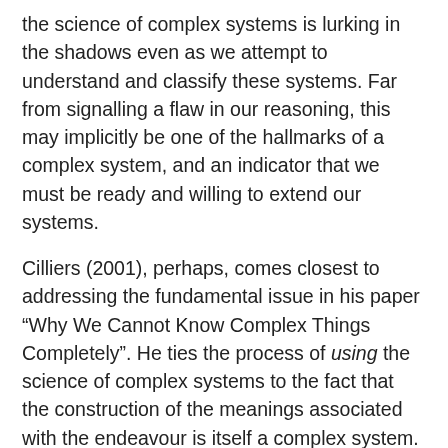the science of complex systems is lurking in the shadows even as we attempt to understand and classify these systems. Far from signalling a flaw in our reasoning, this may implicitly be one of the hallmarks of a complex system, and an indicator that we must be ready and willing to extend our systems.
Cilliers (2001), perhaps, comes closest to addressing the fundamental issue in his paper “Why We Cannot Know Complex Things Completely”. He ties the process of using the science of complex systems to the fact that the construction of the meanings associated with the endeavour is itself a complex system. He then suggests that the systems we deal with operate within boundaries and limits and that since a system “can only make representation in terms of its own resources [...] it is difficult to see how any intervention in the dynamics of the system can take place.” He goes on to discuss the